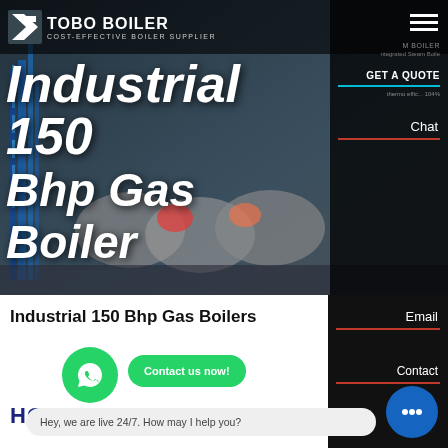[Figure (screenshot): TOBO BOILER website header with logo, navigation, and hero image showing industrial gas boilers]
TOBO BOILER - COST-EFFECTIVE BOILER SUPPLIER
Industrial 150 Bhp Gas Boiler
Chat
Email
Contact
Industrial 150 Bhp Gas Boilers
Contact us now!
HOT NEWS
Hey, we are live 24/7. How may I help you?